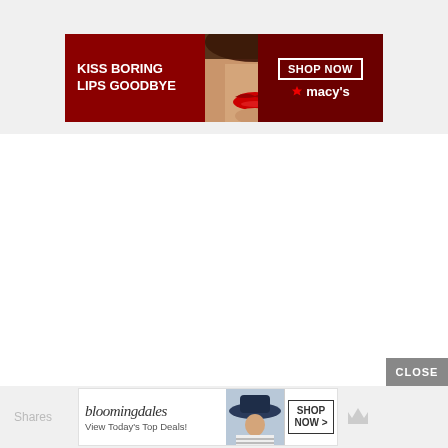[Figure (infographic): Macy's advertisement banner: dark red background with woman's face showing bold red lips, text 'KISS BORING LIPS GOODBYE', 'SHOP NOW' button in white border box, Macy's star logo]
[Figure (infographic): Bloomingdale's advertisement banner: white background with bloomingdales logo in script, text 'View Today's Top Deals!', woman wearing blue hat, 'SHOP NOW >' button]
Shares
CLOSE